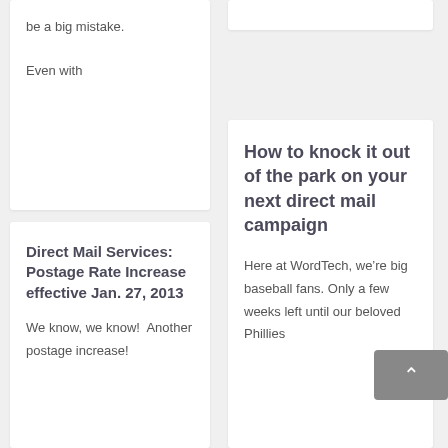be a big mistake.

Even with
Direct Mail Services: Postage Rate Increase effective Jan. 27, 2013
We know, we know!  Another postage increase!
How to knock it out of the park on your next direct mail campaign
Here at WordTech, we're big baseball fans. Only a few weeks left until our beloved Phillies